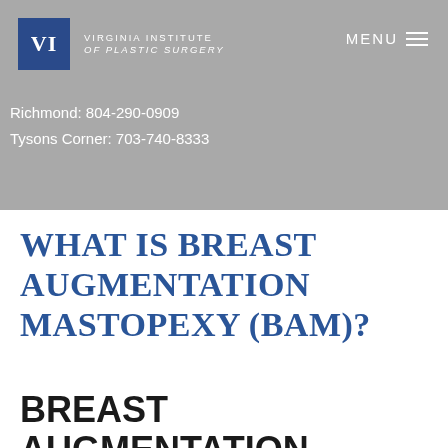[Figure (logo): Virginia Institute of Plastic Surgery logo — blue square with 'VI' initials and text name to the right]
MENU
Richmond: 804-290-0909
Tysons Corner: 703-740-8333
WHAT IS BREAST AUGMENTATION MASTOPEXY (BAM)?
BREAST AUGMENTATION